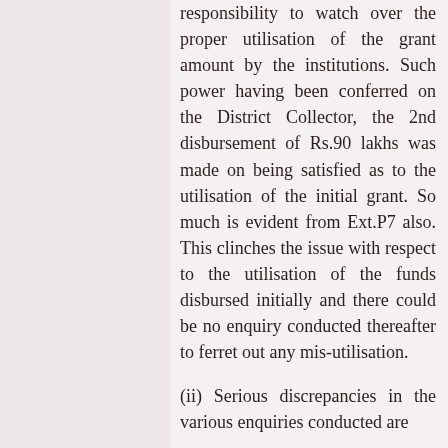responsibility to watch over the proper utilisation of the grant amount by the institutions. Such power having been conferred on the District Collector, the 2nd disbursement of Rs.90 lakhs was made on being satisfied as to the utilisation of the initial grant. So much is evident from Ext.P7 also. This clinches the issue with respect to the utilisation of the funds disbursed initially and there could be no enquiry conducted thereafter to ferret out any mis-utilisation.
(ii) Serious discrepancies in the various enquiries conducted are